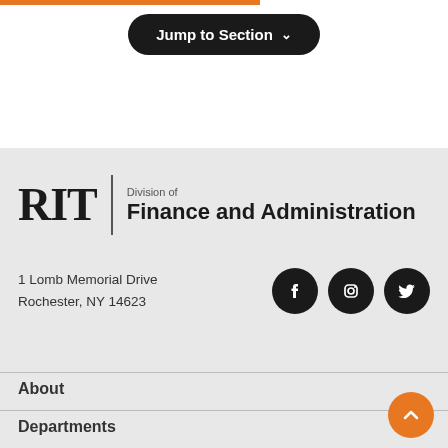[Figure (other): Jump to Section dropdown button with chevron]
[Figure (logo): RIT Division of Finance and Administration logo with social media icons (Facebook, Instagram, Twitter)]
1 Lomb Memorial Drive
Rochester, NY 14623
About
Departments